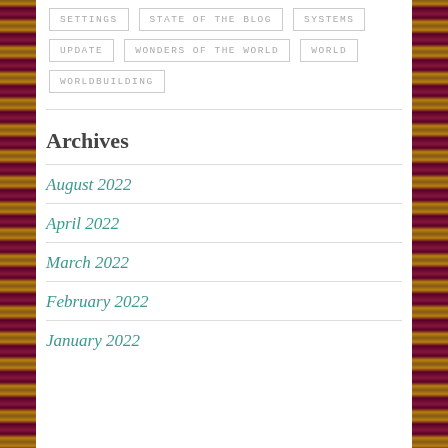SETTINGS
STATE OF THE BLOG
SYSTEMS
UPDATE
WONDERS OF THE WORLD
WORLD
WORLDBUILDING
Archives
August 2022
April 2022
March 2022
February 2022
January 2022